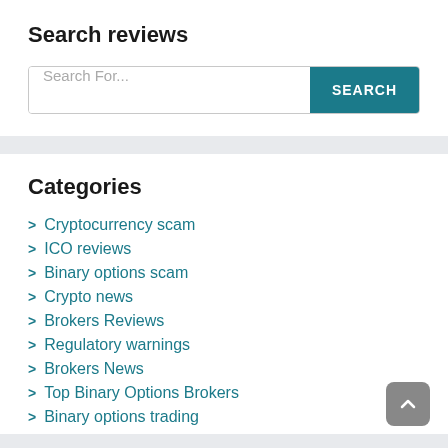Search reviews
[Figure (other): Search input field with placeholder text 'Search For...' and a teal SEARCH button]
Categories
Cryptocurrency scam
ICO reviews
Binary options scam
Crypto news
Brokers Reviews
Regulatory warnings
Brokers News
Top Binary Options Brokers
Binary options trading